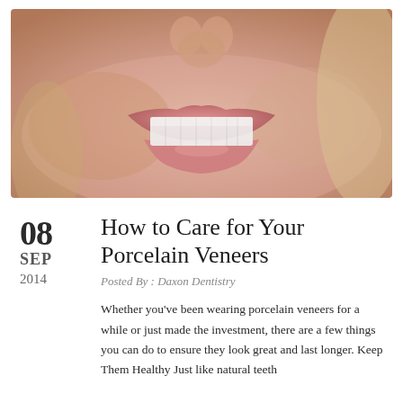[Figure (photo): Close-up photo of a woman smiling, showing white porcelain veneers on her teeth, with pink lips visible]
How to Care for Your Porcelain Veneers
Posted By : Daxon Dentistry
Whether you've been wearing porcelain veneers for a while or just made the investment, there are a few things you can do to ensure they look great and last longer. Keep Them Healthy Just like natural teeth